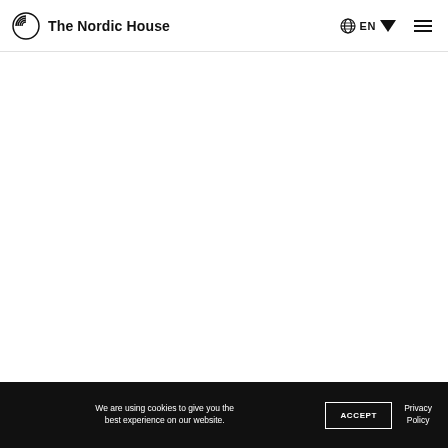The Nordic House | EN | (menu)
[Figure (other): Large empty white content area below the navigation header]
We are using cookies to give you the best experience on our website. ACCEPT  Privacy Policy